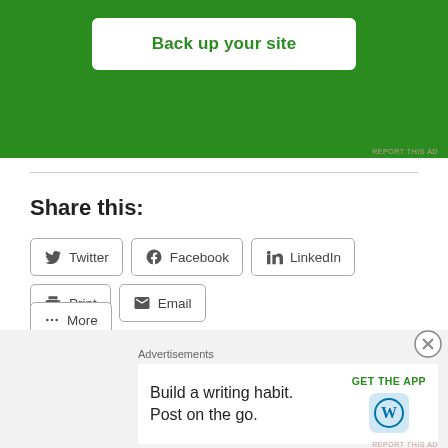[Figure (screenshot): Green advertisement banner with white rounded button labeled 'Back up your site']
REPORT THIS AD
Share this:
Twitter  Facebook  LinkedIn  Print  Email
More
Loading...
Related
[Figure (screenshot): Bottom advertisement: 'Advertisements' label above a white card with text 'Build a writing habit. Post on the go.' and a 'GET THE APP' link with WordPress logo]
REPORT THIS AD